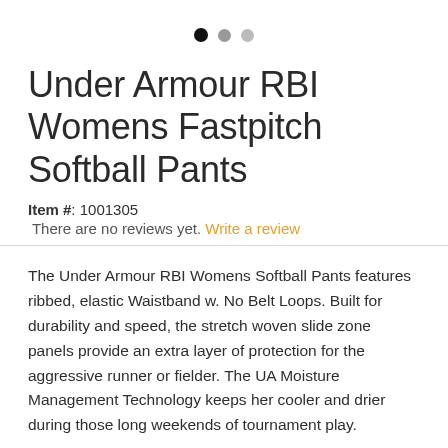[Figure (other): Three navigation dots: one black, two gray, indicating image carousel position]
Under Armour RBI Womens Fastpitch Softball Pants
Item #: 1001305
There are no reviews yet. Write a review
The Under Armour RBI Womens Softball Pants features ribbed, elastic Waistband w. No Belt Loops. Built for durability and speed, the stretch woven slide zone panels provide an extra layer of protection for the aggressive runner or fielder. The UA Moisture Management Technology keeps her cooler and drier during those long weekends of tournament play.